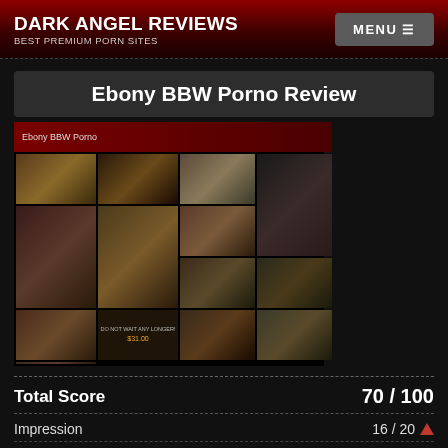DARK ANGEL REVIEWS - BEST PREMIUM PORN SITES
Ebony BBW Porno Review
[Figure (screenshot): Screenshot collage of Ebony BBW Porno website showing multiple thumbnail images of adult content]
| Category | Score |
| --- | --- |
| Total Score | 70 / 100 |
| Impression | 16 / 20 |
| Video Quality | 10 / 15 |